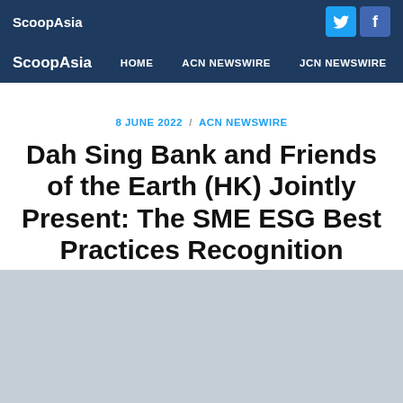ScoopAsia
ScoopAsia  HOME  ACN NEWSWIRE  JCN NEWSWIRE
8 JUNE 2022 / ACN NEWSWIRE
Dah Sing Bank and Friends of the Earth (HK) Jointly Present: The SME ESG Best Practices Recognition Programme